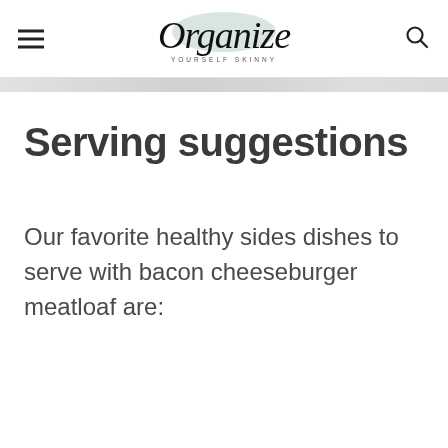Organize Yourself Skinny
Serving suggestions
Our favorite healthy sides dishes to serve with bacon cheeseburger meatloaf are: